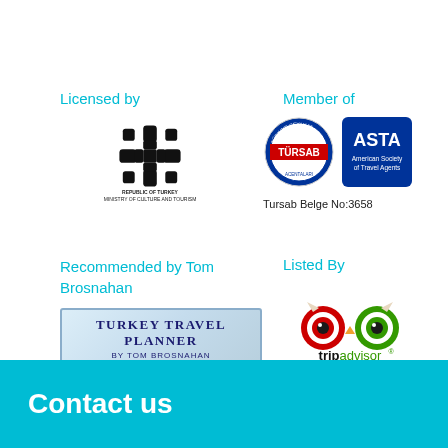Licensed by
[Figure (logo): Republic of Turkey Ministry of Culture and Tourism emblem/logo with ornate cross-knot symbol]
Member of
[Figure (logo): Tursab circular badge logo and ASTA (American Society of Travel Agents) logo side by side]
Tursab Belge No:3658
Recommended by Tom Brosnahan
[Figure (logo): Turkey Travel Planner by Tom Brosnahan badge]
Listed By
[Figure (logo): TripAdvisor owl logo with tripadvisor text]
Contact us